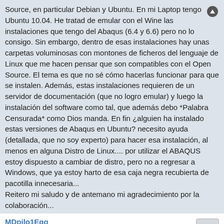Source, en particular Debian y Ubuntu. En mi Laptop tengo Ubuntu 10.04. He tratad de emular con el Wine las instalaciones que tengo del Abaqus (6.4 y 6.6) pero no lo consigo. Sin embargo, dentro de esas instalaciones hay unas carpetas voluminosas con montones de ficheros del lenguaje de Linux que me hacen pensar que son compatibles con el Open Source. El tema es que no sé cómo hacerlas funcionar para que se instalen. Además, estas instalaciones requieren de un servidor de documentación (que no logro emular) y luego la instalación del software como tal, que además debo *Palabra Censurada* como Dios manda. En fin ¿alguien ha instalado estas versiones de Abaqus en Ubuntu? necesito ayuda (detallada, que no soy experto) para hacer esa instalación, al menos en alguna Distro de Linux.... por utilizar el ABAQUS estoy dispuesto a cambiar de distro, pero no a regresar a Windows, que ya estoy harto de esa caja negra recubierta de pacotilla innecesaria... Reitero mi saludo y de antemano mi agradecimiento por la colaboración...
MDpilo1Egg
Moderador General
Sun Dec 05, 2010 1:41 pm
Hola, no conozco mucho del ABAQUS y tampoco uso Linux, pero si te fijas por ahi afuera con el buscador verás que se puede:
Yo solamente realicé una búsqueda por google y apareceiron 28.900